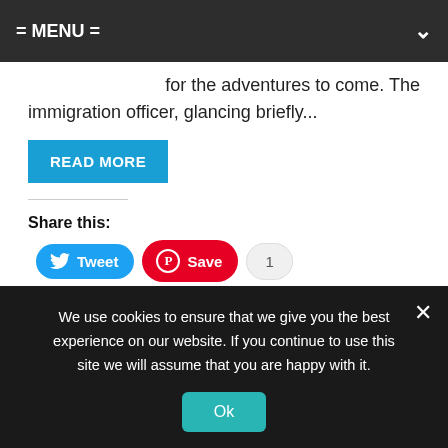= MENU =
for the adventures to come. The immigration officer, glancing briefly...
READ MORE
Share this:
Tweet  Save  1
Like this:
Loading...
We use cookies to ensure that we give you the best experience on our website. If you continue to use this site we will assume that you are happy with it.
Ok